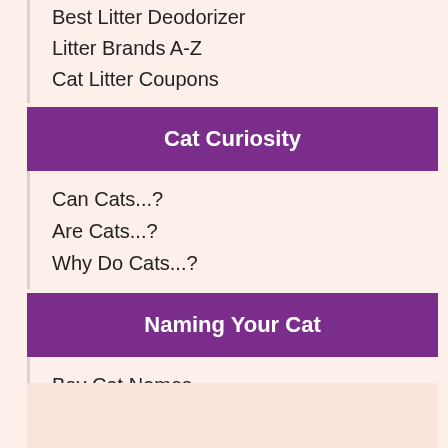Best Litter Deodorizer
Litter Brands A-Z
Cat Litter Coupons
Cat Curiosity
Can Cats...?
Are Cats...?
Why Do Cats...?
Naming Your Cat
Boy Cat Names
Girl Cat Names
Popular Cat Names